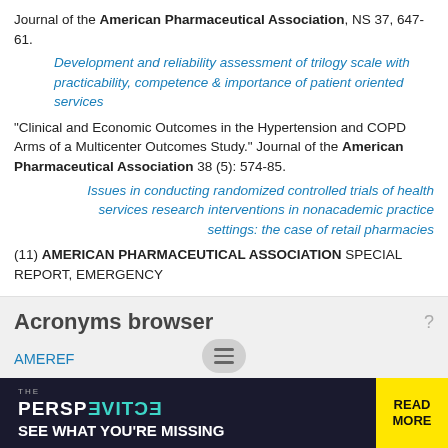Journal of the American Pharmaceutical Association, NS 37, 647-61.
Development and reliability assessment of trilogy scale with practicability, competence & importance of patient oriented services
"Clinical and Economic Outcomes in the Hypertension and COPD Arms of a Multicenter Outcomes Study." Journal of the American Pharmaceutical Association 38 (5): 574-85.
Issues in conducting randomized controlled trials of health services research interventions in nonacademic practice settings: the case of retail pharmacies
(11) AMERICAN PHARMACEUTICAL ASSOCIATION SPECIAL REPORT, EMERGENCY
Acronyms browser
AMEREF
AMEREM
AMERG
AMERI
AMERIC
[Figure (screenshot): Advertisement banner: THE PERSPECTIVE - SEE WHAT YOU'RE MISSING | READ MORE]